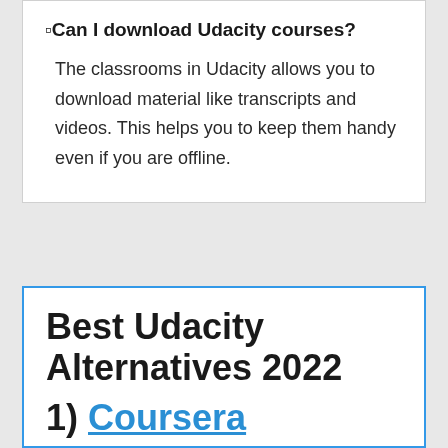⬜Can I download Udacity courses?
The classrooms in Udacity allows you to download material like transcripts and videos. This helps you to keep them handy even if you are offline.
Best Udacity Alternatives 2022
1) Coursera